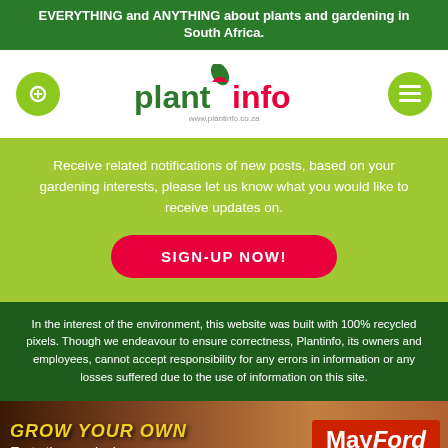EVERYTHING and ANYTHING about plants and gardening in South Africa.
[Figure (logo): Plantinfo logo with plant icon, text 'plantinfo' and url www.plantinfo.co.za]
Receive related notifications of new posts, based on your gardening interests, please let us know what you would like to receive updates on.
SIGN-UP NOW!
In the interest of the environment, this website was built with 100% recycled pixels. Though we endeavour to ensure correctness, Plantinfo, its owners and employees, cannot accept responsibility for any errors in information or any losses suffered due to the use of information on this site.
[Figure (photo): GROW YOUR OWN Taste the passion advertisement with vegetables and MayFord Seeds logo]
[Figure (infographic): Social media sharing bar with Facebook, Twitter, LinkedIn, Instagram, WhatsApp, Messenger, Pinterest, and share icons]